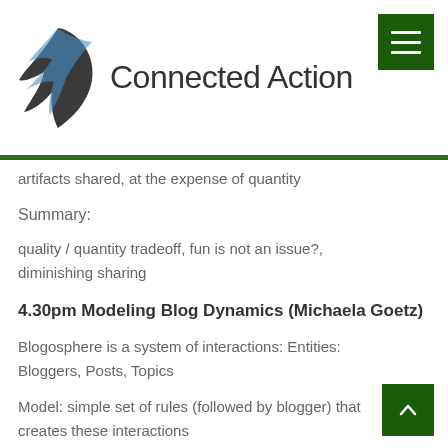[Figure (logo): Connected Action logo with stylized bird/pen and site name]
artifacts shared, at the expense of quantity
Summary:
quality / quantity tradeoff, fun is not an issue?, diminishing sharing
4.30pm Modeling Blog Dynamics (Michaela Goetz)
Blogosphere is a system of interactions: Entities: Bloggers, Posts, Topics
Model: simple set of rules (followed by blogger) that creates these interactions